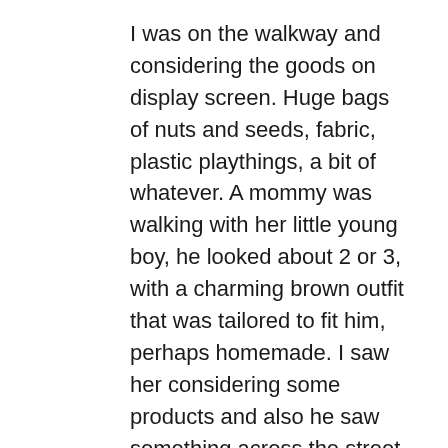I was on the walkway and considering the goods on display screen. Huge bags of nuts and seeds, fabric, plastic playthings, a bit of whatever. A mommy was walking with her little young boy, he looked about 2 or 3, with a charming brown outfit that was tailored to fit him, perhaps homemade. I saw her considering some products and also he saw something across the street and also like little boys all over the world, took off past me and headed into the street.
I am a papa of three young boys and back then they were 16, 13 as well as 6 and also I thought about them daily otherwise hourly. My better half as well as I had been chasing after healthy and balanced and happy, troublesome young boys for several years and if I was hyper watchful for bad guys, I was much more conscious children